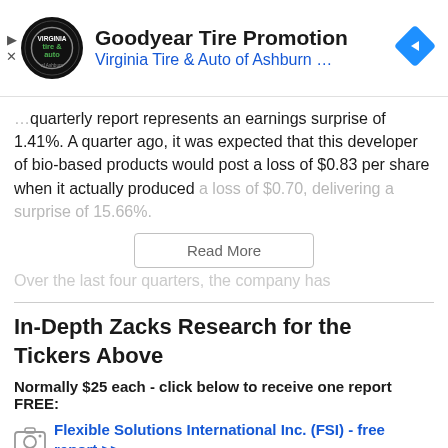[Figure (advertisement): Goodyear Tire Promotion ad banner with Virginia Tire & Auto of Ashburn logo and navigation arrow icon]
...quarterly report represents an earnings surprise of 1.41%. A quarter ago, it was expected that this developer of bio-based products would post a loss of $0.83 per share when it actually produced a loss of $0.70, delivering a surprise of 15.66%.
Read More
Over the last four quarters, the company has
In-Depth Zacks Research for the Tickers Above
Normally $25 each - click below to receive one report FREE:
Flexible Solutions International Inc. (FSI) - free report >>